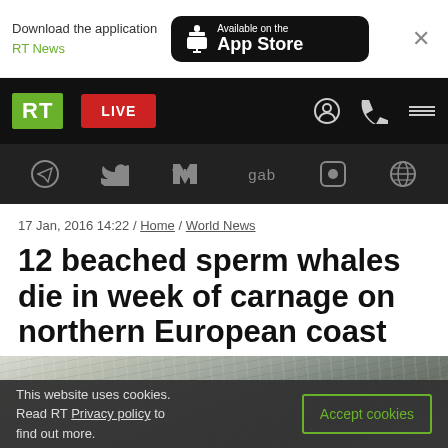Download the application RT News — Available on the App Store
[Figure (screenshot): RT News website navigation bar with green RT logo, red LIVE button, search and menu icons]
[Figure (screenshot): Social media icons bar: Telegram, Twitter, VK, gab, Rumble, and a globe icon on dark background]
17 Jan, 2016 14:22 / Home / World News
12 beached sperm whales die in week of carnage on northern European coast
[Figure (photo): Aerial/overhead photo of ocean waves on rocky coast, partially visible]
This website uses cookies. Read RT Privacy policy to find out more.